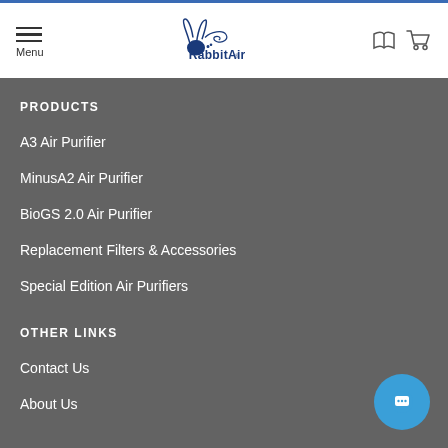[Figure (logo): Rabbit Air logo with stylized rabbit and swirl graphic, brand name in blue]
PRODUCTS
A3 Air Purifier
MinusA2 Air Purifier
BioGS 2.0 Air Purifier
Replacement Filters & Accessories
Special Edition Air Purifiers
OTHER LINKS
Contact Us
About Us